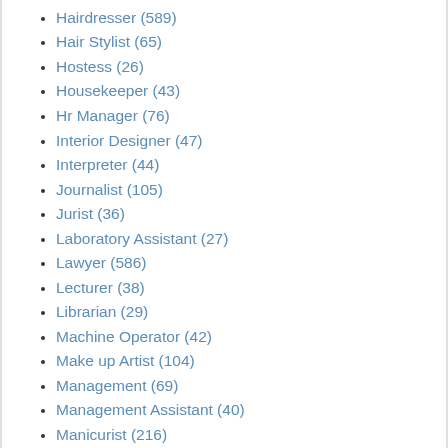Hairdresser (589)
Hair Stylist (65)
Hostess (26)
Housekeeper (43)
Hr Manager (76)
Interior Designer (47)
Interpreter (44)
Journalist (105)
Jurist (36)
Laboratory Assistant (27)
Lawyer (586)
Lecturer (38)
Librarian (29)
Machine Operator (42)
Make up Artist (104)
Management (69)
Management Assistant (40)
Manicurist (216)
Marketing (121)
Massage Therapist (80)
Masseur (40)
Masseuse (36)
Medical Assistant (27)